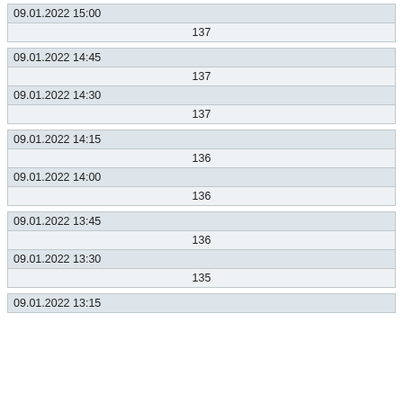| 09.01.2022 15:00 |
| 137 |
| 09.01.2022 14:45 |
| 137 |
| 09.01.2022 14:30 |
| 137 |
| 09.01.2022 14:15 |
| 136 |
| 09.01.2022 14:00 |
| 136 |
| 09.01.2022 13:45 |
| 136 |
| 09.01.2022 13:30 |
| 135 |
| 09.01.2022 13:15 |